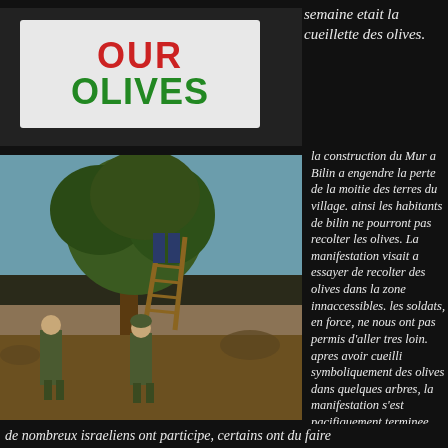[Figure (photo): Photo of a protest banner showing 'OUR OLIVES' in red and green text on white background, held by people dressed in dark clothing]
semaine etait la cueillette des olives.
[Figure (photo): Photo of an olive tree with a person on a wooden ladder, and two soldiers standing below in an arid landscape]
la construction du Mur a Bilin a engendre la perte de la moitie des terres du village. ainsi les habitants de bilin ne pourront pas recolter les olives. La manifestation visait a essayer de recolter des olives dans la zone innaccessibles. les soldats, en force, ne nous ont pas permis d'aller tres loin. apres avoir cueilli symboliquement des olives dans quelques arbres, la manifestation s'est pacifiquement terminee.
de nombreux israeliens ont participe, certains ont du faire